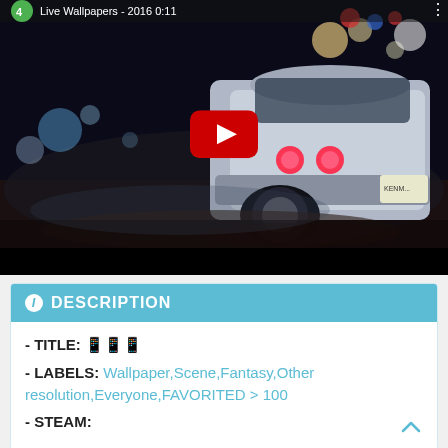[Figure (screenshot): YouTube video thumbnail showing a white sports car (rear view) on a dark rainy street with bokeh lights in the background. A red YouTube play button is centered on the image.]
i DESCRIPTION
- TITLE: 🎮🎮🎮
- LABELS: Wallpaper,Scene,Fantasy,Other resolution,Everyone,FAVORITED > 100
- STEAM: